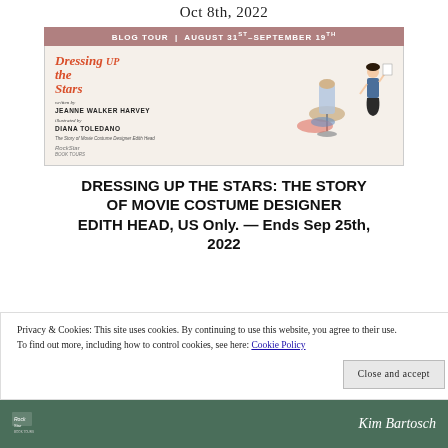Oct 8th, 2022
[Figure (illustration): Blog Tour banner for 'Dressing Up the Stars' book. Top bar reads: BLOG TOUR | AUGUST 31st-SEPTEMBER 19th. Banner shows book title in red italic, written by Jeanne Walker Harvey, illustrated by Diana Toledano, subtitle 'The Story of Movie Costume Designer Edith Head', RockStar Book Tours logo, and illustrated figures of a woman sketching and a dress form with costumes.]
DRESSING UP THE STARS: THE STORY OF MOVIE COSTUME DESIGNER EDITH HEAD, US Only. — Ends Sep 25th, 2022
Privacy & Cookies: This site uses cookies. By continuing to use this website, you agree to their use.
To find out more, including how to control cookies, see here: Cookie Policy
Close and accept
[Figure (illustration): Bottom strip showing RockStar Book Tours logo on left and 'Kim Bartosch' name on right, on a dark green background.]